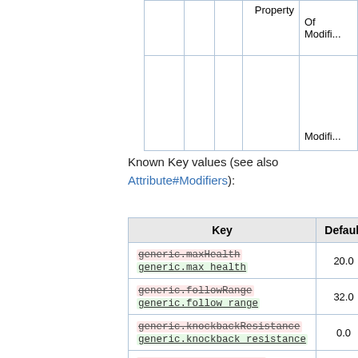|  |  |  | Property | Of Modifi... / Modifi... |
| --- | --- | --- | --- | --- |
|  |  |  |  |  |
|  |  |  |  |  |
Known Key values (see also Attribute#Modifiers):
| Key | Default |
| --- | --- |
| generic.maxHealth / generic.max_health | 20.0 |
| generic.followRange / generic.follow_range | 32.0 |
| generic.knockbackResistance / generic.knockback_resistance | 0.0 |
| generic.movementSpeed / generic.movement_speed | 0.7 |